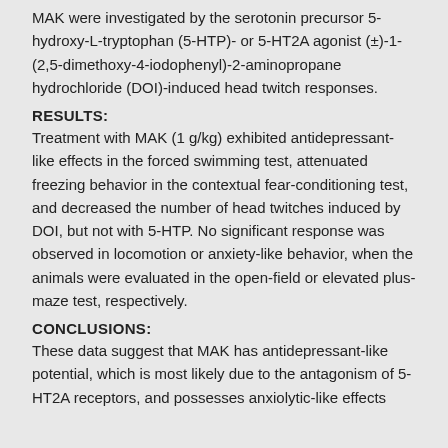MAK were investigated by the serotonin precursor 5-hydroxy-L-tryptophan (5-HTP)- or 5-HT2A agonist (±)-1-(2,5-dimethoxy-4-iodophenyl)-2-aminopropane hydrochloride (DOI)-induced head twitch responses.
RESULTS:
Treatment with MAK (1 g/kg) exhibited antidepressant-like effects in the forced swimming test, attenuated freezing behavior in the contextual fear-conditioning test, and decreased the number of head twitches induced by DOI, but not with 5-HTP. No significant response was observed in locomotion or anxiety-like behavior, when the animals were evaluated in the open-field or elevated plus-maze test, respectively.
CONCLUSIONS:
These data suggest that MAK has antidepressant-like potential, which is most likely due to the antagonism of 5-HT2A receptors, and possesses anxiolytic-like effects